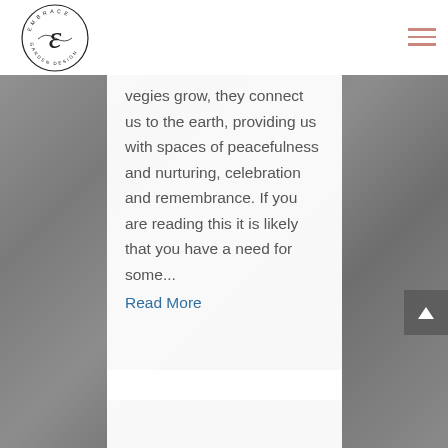[Figure (logo): Embrace Garden Design circular logo with stylized E in the center]
vegies grow, they connect us to the earth, providing us with spaces of peacefulness and nurturing, celebration and remembrance. If you are reading this it is likely that you have a need for some...
Read More
[Figure (other): White content card bottom, partially visible]